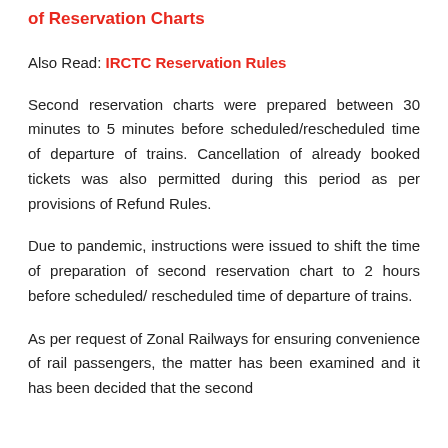of Reservation Charts
Also Read: IRCTC Reservation Rules
Second reservation charts were prepared between 30 minutes to 5 minutes before scheduled/rescheduled time of departure of trains. Cancellation of already booked tickets was also permitted during this period as per provisions of Refund Rules.
Due to pandemic, instructions were issued to shift the time of preparation of second reservation chart to 2 hours before scheduled/ rescheduled time of departure of trains.
As per request of Zonal Railways for ensuring convenience of rail passengers, the matter has been examined and it has been decided that the second